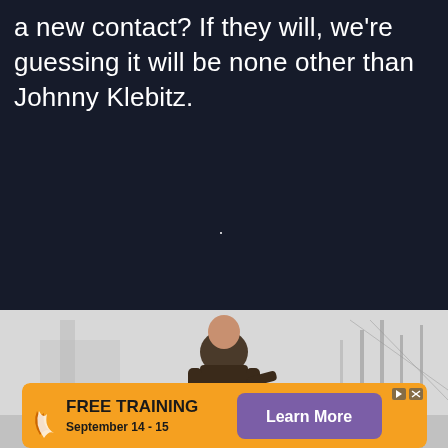a new contact? If they will, we're guessing it will be none other than Johnny Klebitz.
[Figure (photo): A man in a dark jacket viewed from the front against a light background with a bridge visible behind him. This appears to be a game character (Johnny Klebitz from GTA) screenshot.]
[Figure (infographic): Advertisement banner: FREE TRAINING September 14-15, Learn More button in purple, orange background with a logo on the left.]